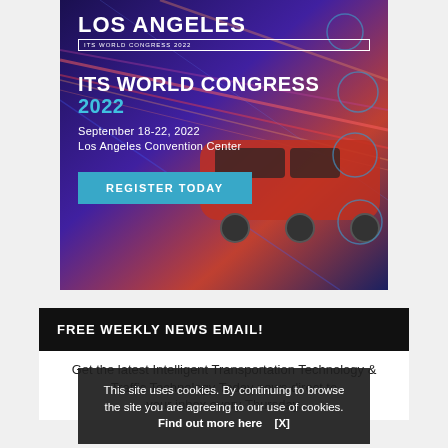[Figure (illustration): ITS World Congress 2022 event advertisement banner featuring a red high-speed train, Los Angeles skyline elements, palm tree globe logo, and a 'REGISTER TODAY' button. Text includes 'LOS ANGELES', 'ITS WORLD CONGRESS 2022', 'September 18-22, 2022', 'Los Angeles Convention Center'.]
FREE WEEKLY NEWS EMAIL!
Get the latest Intelligent Transportation Technology & Traffic Technology Today news direct to your inbox every Thursday.
This site uses cookies. By continuing to browse the site you are agreeing to our use of cookies. Find out more here [X]